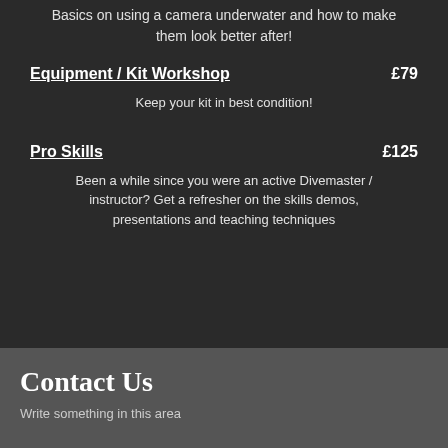Basics on using a camera underwater and how to make them look better after!
Equipment / Kit Workshop    £79
Keep your kit in best condition!
Pro Skills    £125
Been a while since you were an active Divemaster / instructor? Get a refresher on the skills demos, presentations and teaching techniques
Contact Us
Write something in this area